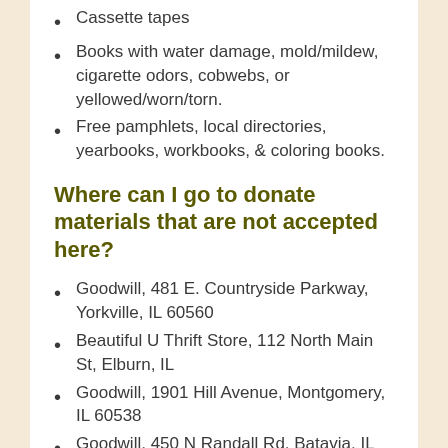Cassette tapes
Books with water damage, mold/mildew, cigarette odors, cobwebs, or yellowed/worn/torn.
Free pamphlets, local directories, yearbooks, workbooks, & coloring books.
Where can I go to donate materials that are not accepted here?
Goodwill, 481 E. Countryside Parkway, Yorkville, IL 60560
Beautiful U Thrift Store, 112 North Main St, Elburn, IL
Goodwill, 1901 Hill Avenue, Montgomery, IL 60538
Goodwill, 450 N Randall Rd, Batavia, IL 60510